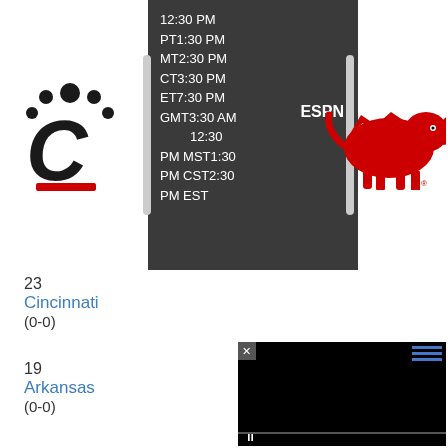[Figure (infographic): Game matchup display: dark panel with time zones listing (12:30 PM PT, 1:30 PM MT, 2:30 PM CT, 3:30 PM ET, 7:30 PM GMT, 3:30 AM, 12:30 PM MST, 1:30 PM CST, 2:30 PM EST), ESPN label, Cincinnati Bearcats logo on left, Arkansas Razorbacks logo on right]
23
Cincinnati
(0-0)
19
Arkansas
(0-0)
[Figure (screenshot): Black video player window with close button (x), menu icon top right, pause button bottom left]